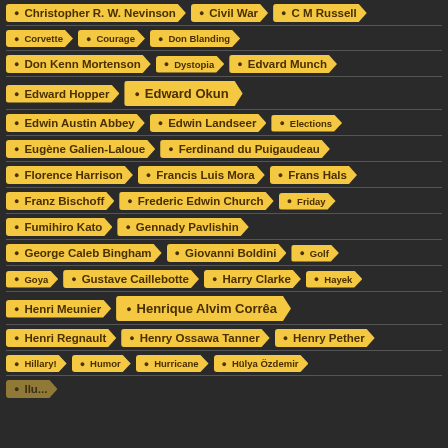Christopher R. W. Nevinson
Civil War
C M Russell
Corvette
Courage
Don Blanding
Don Kenn Mortenson
Dystopia
Edvard Munch
Edward Hopper
Edward Okun
Edwin Austin Abbey
Edwin Landseer
Elections
Eugène Galien-Laloue
Ferdinand du Puigaudeau
Florence Harrison
Francis Luis Mora
Frans Hals
Franz Bischoff
Frederic Edwin Church
Friday
Fumihiro Kato
Gennady Pavlishin
George Caleb Bingham
Giovanni Boldini
Golf
Goya
Gustave Caillebotte
Harry Clarke
Hayek
Henri Meunier
Henrique Alvim Corrêa
Henri Regnault
Henry Ossawa Tanner
Henry Pether
Hillary!
Humor
Hurricane
Hülya Özdemir